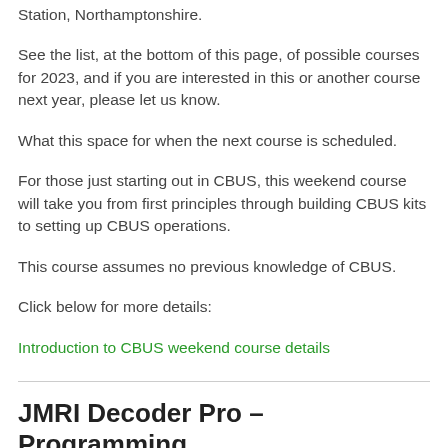Station, Northamptonshire.
See the list, at the bottom of this page, of possible courses for 2023, and if you are interested in this or another course next year, please let us know.
What this space for when the next course is scheduled.
For those just starting out in CBUS, this weekend course will take you from first principles through building CBUS kits to setting up CBUS operations.
This course assumes no previous knowledge of CBUS.
Click below for more details:
Introduction to CBUS weekend course details
JMRI Decoder Pro – Programming